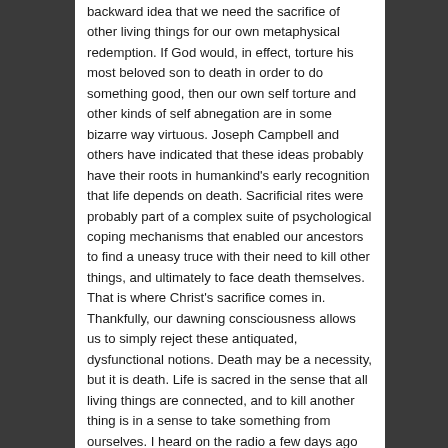backward idea that we need the sacrifice of other living things for our own metaphysical redemption. If God would, in effect, torture his most beloved son to death in order to do something good, then our own self torture and other kinds of self abnegation are in some bizarre way virtuous. Joseph Campbell and others have indicated that these ideas probably have their roots in humankind's early recognition that life depends on death. Sacrificial rites were probably part of a complex suite of psychological coping mechanisms that enabled our ancestors to find a uneasy truce with their need to kill other things, and ultimately to face death themselves. That is where Christ's sacrifice comes in. Thankfully, our dawning consciousness allows us to simply reject these antiquated, dysfunctional notions. Death may be a necessity, but it is death. Life is sacred in the sense that all living things are connected, and to kill another thing is in a sense to take something from ourselves. I heard on the radio a few days ago about the massive jellyfish blooms that are now dominating vast tracts of our oceans. Wherever sufficient overfishing or other ecological